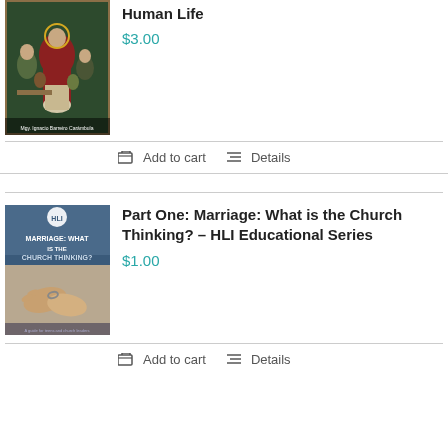[Figure (illustration): Religious painting showing robed figures, medieval style, book cover for HLI publication about Human Life]
Human Life
$3.00
Add to cart   Details
[Figure (photo): Book cover for Part One: Marriage: What is the Church Thinking? - HLI Educational Series, showing a couple holding hands]
Part One: Marriage: What is the Church Thinking? – HLI Educational Series
$1.00
Add to cart   Details